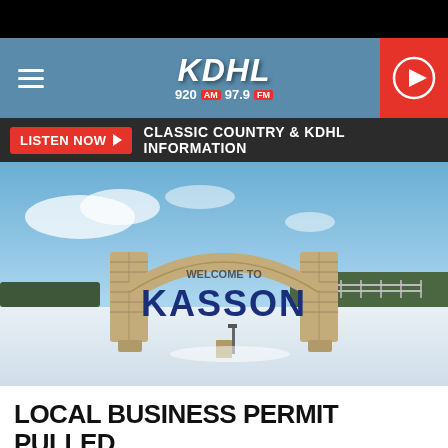[Figure (screenshot): KDHL radio station website header with logo showing '920 AM 97.9 FM', hamburger menu on left, red play button on right, on a blue-gray background]
LISTEN NOW ▶   CLASSIC COUNTRY & KDHL INFORMATION
[Figure (photo): Welcome to Kasson sign - a stone arch monument with 'Welcome to Kasson' text, surrounded by snow-covered fields under a blue sky]
LOCAL BUSINESS PERMIT PULLED